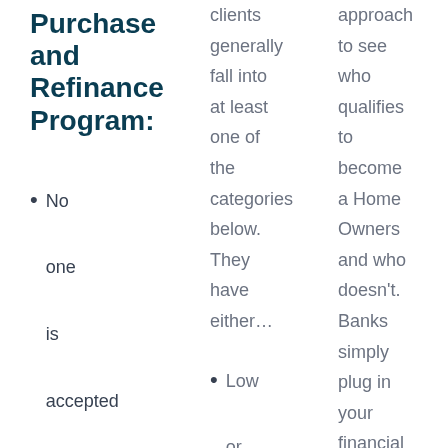Purchase and Refinance Program:
No one is accepted into our Lease Purchase Program
clients generally fall into at least one of the categories below. They have either…
Low or no credit score
approach to see who qualifies to become a Home Owners and who doesn't. Banks simply plug in your financial numbers, examine